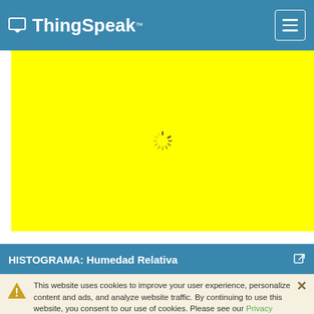ThingSpeak™
[Figure (screenshot): Yellow background chart area with a spinning loading indicator in the center]
HISTOGRAMA: Humedad Relativa
This website uses cookies to improve your user experience, personalize content and ads, and analyze website traffic. By continuing to use this website, you consent to our use of cookies. Please see our Privacy Policy to learn more about cookies and how to change your settings.